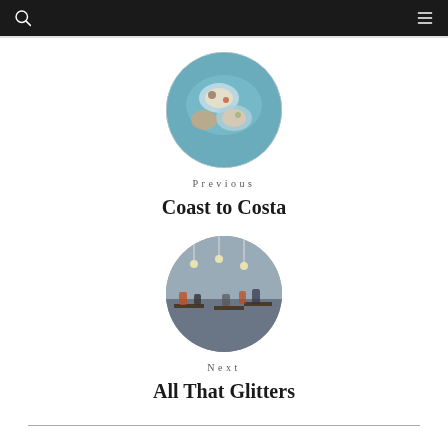[Figure (photo): Circular cropped photo of food dishes on a blue patterned surface, viewed from above — seafood and various small bowls]
Previous
Coast to Costa
[Figure (photo): Circular cropped photo of a restaurant interior with pendant lights and diners at tables]
Next
All That Glitters